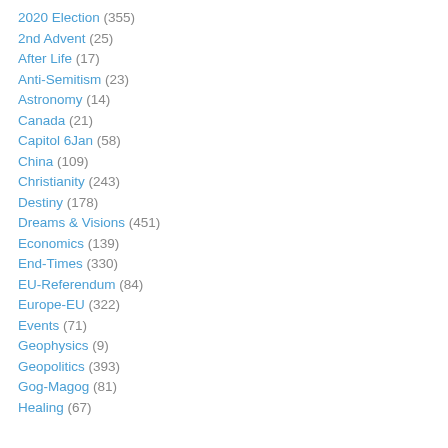2020 Election (355)
2nd Advent (25)
After Life (17)
Anti-Semitism (23)
Astronomy (14)
Canada (21)
Capitol 6Jan (58)
China (109)
Christianity (243)
Destiny (178)
Dreams & Visions (451)
Economics (139)
End-Times (330)
EU-Referendum (84)
Europe-EU (322)
Events (71)
Geophysics (9)
Geopolitics (393)
Gog-Magog (81)
Healing (67)